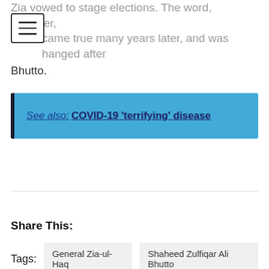Zia vowed to stage elections. The word, however, came true many years later, and was hanged after Bhutto.
See also: COVID-19 'terrifying' disease
Share This:
Tags:  General Zia-ul-Haq  Shaheed Zulfiqar Ali Bhutto